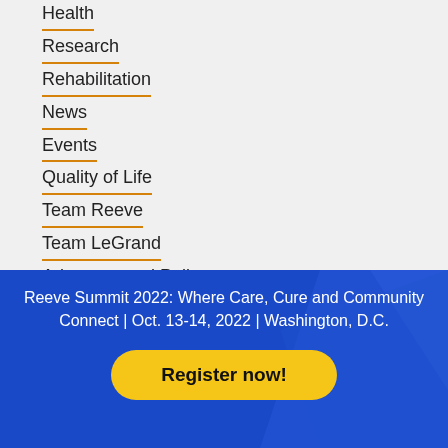Health
Research
Rehabilitation
News
Events
Quality of Life
Team Reeve
Team LeGrand
Advocacy and Policy
Caregiving
Reeve Summit 2022: Where Care, Cure and Community Connect | Oct. 13-14, 2022 | Washington, D.C.
Register now!